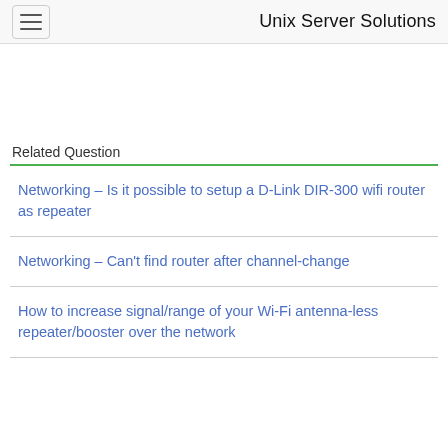Unix Server Solutions
Related Question
Networking – Is it possible to setup a D-Link DIR-300 wifi router as repeater
Networking – Can't find router after channel-change
How to increase signal/range of your Wi-Fi antenna-less repeater/booster over the network